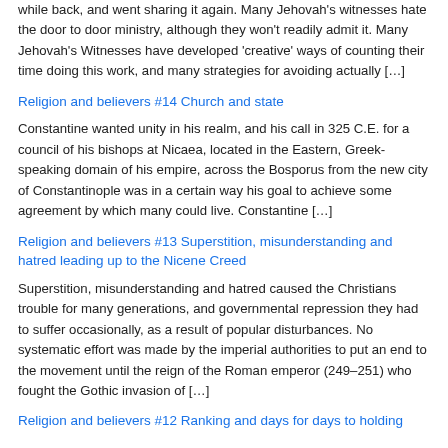while back, and went sharing it again. Many Jehovah's witnesses hate the door to door ministry, although they won't readily admit it. Many Jehovah's Witnesses have developed 'creative' ways of counting their time doing this work, and many strategies for avoiding actually […]
Religion and believers #14 Church and state
Constantine wanted unity in his realm, and his call in 325 C.E. for a council of his bishops at Nicaea, located in the Eastern, Greek-speaking domain of his empire, across the Bosporus from the new city of Constantinople was in a certain way his goal to achieve some agreement by which many could live. Constantine […]
Religion and believers #13 Superstition, misunderstanding and hatred leading up to the Nicene Creed
Superstition, misunderstanding and hatred caused the Christians trouble for many generations, and governmental repression they had to suffer occasionally, as a result of popular disturbances. No systematic effort was made by the imperial authorities to put an end to the movement until the reign of the Roman emperor (249–251) who fought the Gothic invasion of […]
Religion and believers #12 Ranking and days for days to holding